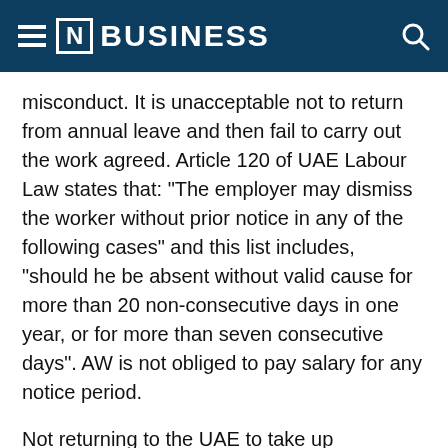[N] BUSINESS
misconduct. It is unacceptable not to return from annual leave and then fail to carry out the work agreed. Article 120 of UAE Labour Law states that: "The employer may dismiss the worker without prior notice in any of the following cases" and this list includes, "should he be absent without valid cause for more than 20 non-consecutive days in one year, or for more than seven consecutive days". AW is not obliged to pay salary for any notice period.
Not returning to the UAE to take up employment again would be deemed to be absconding and AW can register a case against the employee to this effect as well as